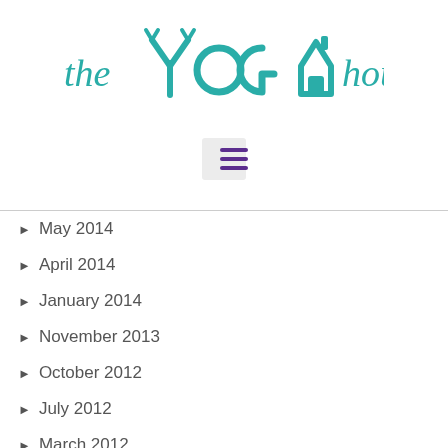[Figure (logo): The Yoga House logo in teal/turquoise cursive and decorative lettering]
[Figure (other): Hamburger menu button (three horizontal purple lines) on a light grey background]
May 2014
April 2014
January 2014
November 2013
October 2012
July 2012
March 2012